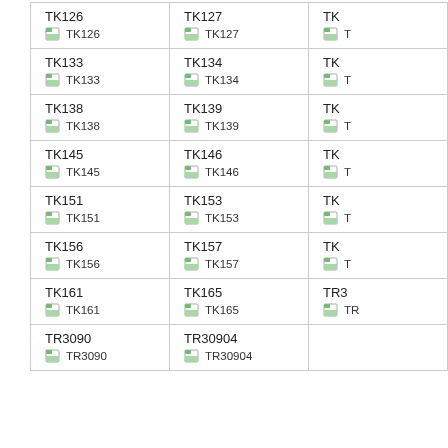| Col1 | Col2 | Col3 |
| --- | --- | --- |
| TK126 | TK127 | TK |
| TK133 | TK134 | TK |
| TK138 | TK139 | TK |
| TK145 | TK146 | TK |
| TK151 | TK153 | TK |
| TK156 | TK157 | TK |
| TK161 | TK165 | TR3 |
| TR3090 | TR30904 |  |